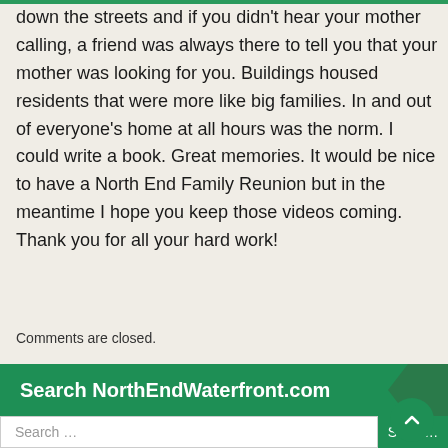down the streets and if you didn't hear your mother calling, a friend was always there to tell you that your mother was looking for you. Buildings housed residents that were more like big families. In and out of everyone's home at all hours was the norm. I could write a book. Great memories. It would be nice to have a North End Family Reunion but in the meantime I hope you keep those videos coming. Thank you for all your hard work!
Comments are closed.
Search NorthEndWaterfront.com